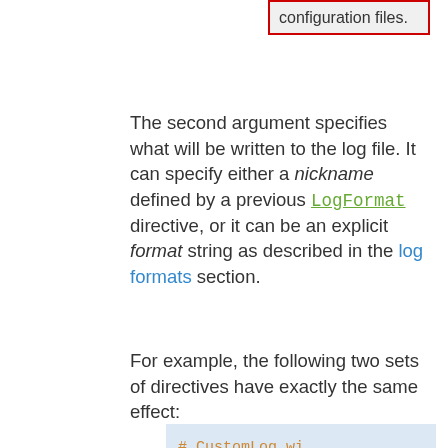[Figure (screenshot): Callout box with red border and gray background showing text 'configuration files.']
The second argument specifies what will be written to the log file. It can specify either a nickname defined by a previous LogFormat directive, or it can be an explicit format string as described in the log formats section.
For example, the following two sets of directives have exactly the same effect:
[Figure (screenshot): Code block with blue background showing Apache config directives: # CustomLog wi, LogFormat "%h, CustomLog logs, # CustomLog wi, CustomLog logs]